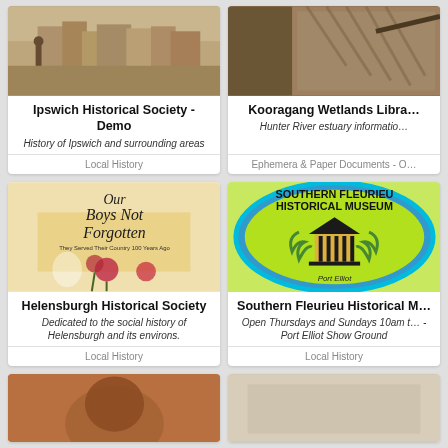[Figure (photo): Sepia historical street scene photo for Ipswich Historical Society]
Ipswich Historical Society - Demo
History of Ipswich and surrounding areas
Local History
[Figure (photo): Close-up photo of a bird (kookaburra or similar) for Kooragang Wetlands Library]
Kooragang Wetlands Libra...
Hunter River estuary informatio...
Ephemera & Paper Documents - O...
[Figure (photo): Book cover 'Our Boys Not Forgotten - They Served Their Country 100 Years Ago' with poppies illustration]
Helensburgh Historical Society
Dedicated to the social history of Helensburgh and its environs.
Local History
[Figure (logo): Southern Fleurieu Historical Museum badge/shield logo with building illustration, green wreath, yellow background, Port Elliot text]
Southern Fleurieu Historical M...
Open Thursdays and Sundays 10am t... - Port Elliot Show Ground
Local History
[Figure (photo): Partial photo at bottom left, warm brown tones]
[Figure (photo): Partial photo at bottom right, light tones]